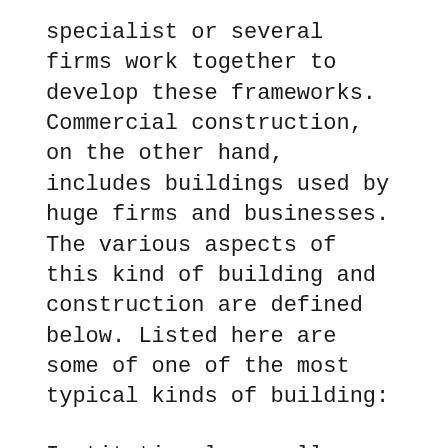specialist or several firms work together to develop these frameworks. Commercial construction, on the other hand, includes buildings used by huge firms and businesses. The various aspects of this kind of building and construction are defined below. Listed here are some of one of the most typical kinds of building:
Institutional as well as industrial building are much more complicated and also pricey than property housing. They also take longer to finish. Additionally, the need for institutional structures is much less sensitive to general economic conditions. In these cases, the proprietor or developer may be confronted with an oligopoly of general professionals. In such a circumstance, the